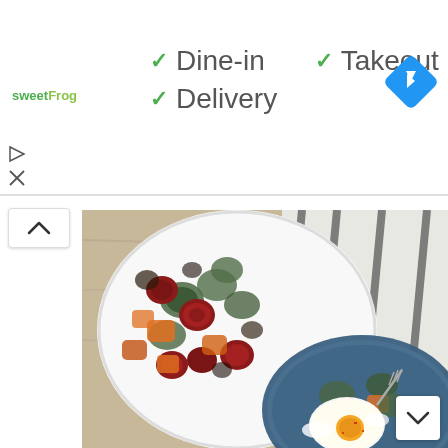[Figure (screenshot): Google Maps / business info UI showing SweetFrog logo, dine-in/takeout/delivery checkmarks, navigation arrow icon, collapse chevron button, and a food photo of roasted sausage and vegetable bowls with a fried egg]
✓ Dine-in  ✓ Takeout
✓ Delivery
[Figure (photo): Overhead photo of two bowls containing roasted sausage, Brussels sprouts, and sweet potatoes; the blue bowl has a fried egg on top; striped kitchen towel in background]